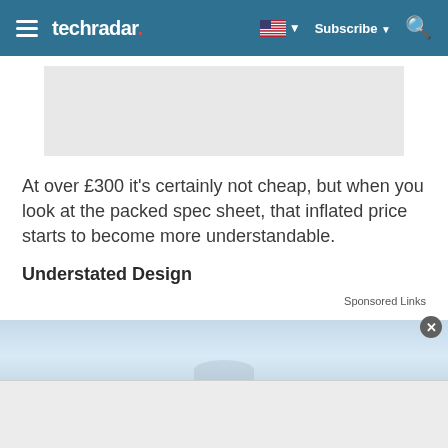techradar | Subscribe | Search
[Figure (other): Grey advertisement placeholder box]
At over £300 it's certainly not cheap, but when you look at the packed spec sheet, that inflated price starts to become more understandable.
Understated Design
Sponsored Links
[Figure (photo): Partial image of a product, light blue/grey background, bottom of page, partially obscured by overlay ad]